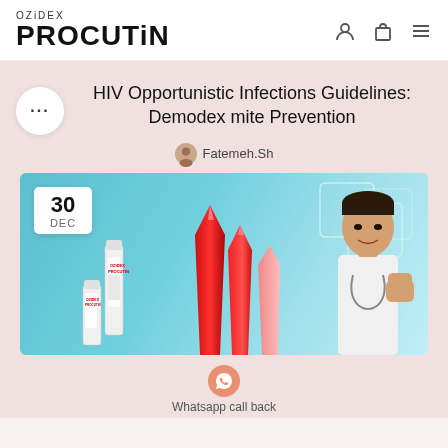OZiDEX PROCUTIN
HIV Opportunistic Infections Guidelines: Demodex mite Prevention
Fatemeh.Sh
[Figure (photo): Hero banner image showing Procutin product bottles, red crystal shapes, and a doctor in white coat with fist raised, on teal/blue background. Date badge shows 30 DEC in top left corner.]
Whatsapp call back